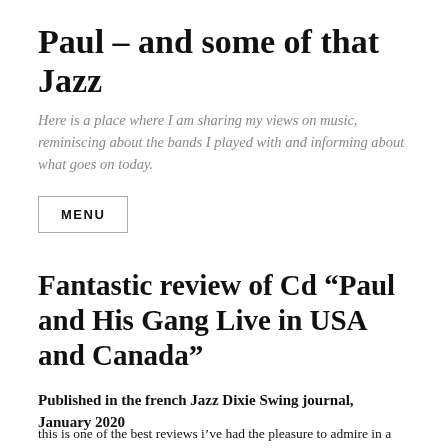Paul – and some of that Jazz
Here is a place where I am sharing my views on music, reminiscing about the bands I played with and informing about what goes on today.
MENU
Fantastic review of Cd “Paul and His Gang Live in USA and Canada”
Published in the french Jazz Dixie Swing journal, January 2020
this is one of the best reviews i’ve had the pleasure to admire in a